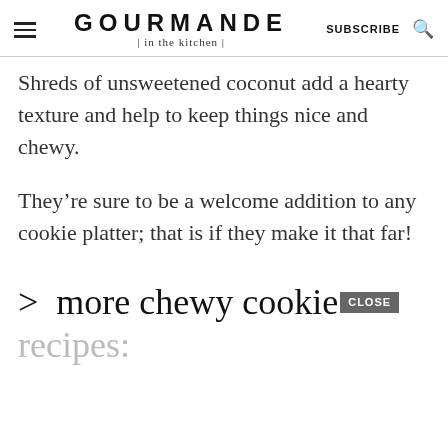GOURMANDE | in the kitchen | SUBSCRIBE
Shreds of unsweetened coconut add a hearty texture and help to keep things nice and chewy.
They’re sure to be a welcome addition to any cookie platter; that is if they make it that far!
> more chewy cookie recipes: